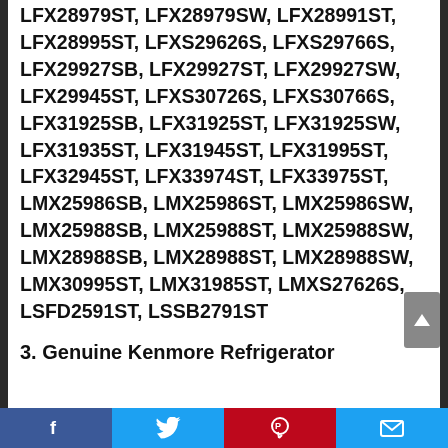LFX28979ST, LFX28979SW, LFX28991ST, LFX28995ST, LFXS29626S, LFXS29766S, LFX29927SB, LFX29927ST, LFX29927SW, LFX29945ST, LFXS30726S, LFXS30766S, LFX31925SB, LFX31925ST, LFX31925SW, LFX31935ST, LFX31945ST, LFX31995ST, LFX32945ST, LFX33974ST, LFX33975ST, LMX25986SB, LMX25986ST, LMX25986SW, LMX25988SB, LMX25988ST, LMX25988SW, LMX28988SB, LMX28988ST, LMX28988SW, LMX30995ST, LMX31985ST, LMXS27626S, LSFD2591ST, LSSB2791ST
3. Genuine Kenmore Refrigerator